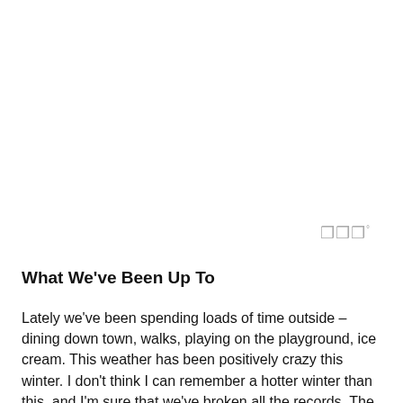[Figure (other): Watermark or logo mark consisting of stylized 'W' characters in gray]
What We've Been Up To
Lately we've been spending loads of time outside – dining down town, walks, playing on the playground, ice cream.  This weather has been positively crazy this winter.  I don't think I can remember a hotter winter than this, and I'm sure that we've broken all the records.  The weather has been going into the range for a long way so that I have this in with